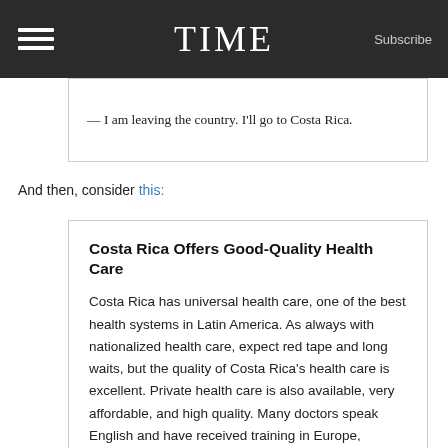TIME  Subscribe
— I am leaving the country. I'll go to Costa Rica.
And then, consider this:
Costa Rica Offers Good-Quality Health Care
Costa Rica has universal health care, one of the best health systems in Latin America. As always with nationalized health care, expect red tape and long waits, but the quality of Costa Rica's health care is excellent. Private health care is also available, very affordable, and high quality. Many doctors speak English and have received training in Europe, Canada, or the U.S. There are three large, private hospitals that most expatriates use: CIMA hospital in Escazú, Clinica Biblica in San José, and Clinica Católica in San José-Guadalupe.